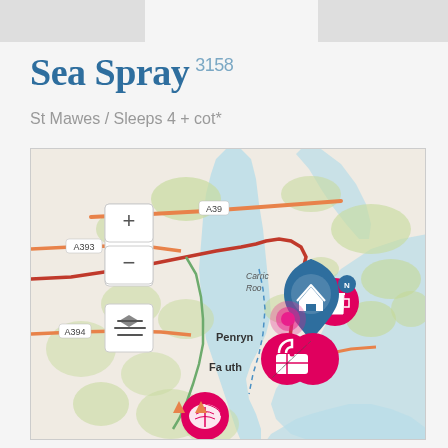Sea Spray 3158
St Mawes / Sleeps 4 + cot*
[Figure (map): Interactive map showing St Mawes area in Cornwall, UK. Shows roads A39, A393, A394, A3078, towns Penryn and Falmouth, Carrick Roads estuary. Map pins: blue house pin at St Mawes location, pink bag icon near Falmouth, pink drink cup icon near coast, pink leaf icon at bottom left, blue layered map icon control, plus/minus zoom controls.]